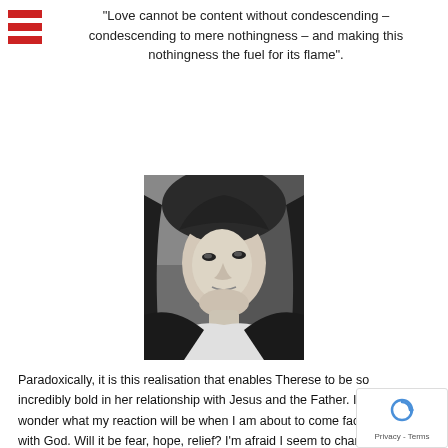"Love cannot be content without condescending – condescending to mere nothingness – and making this nothingness the fuel for its flame".
[Figure (photo): Black and white photograph of a young woman wearing a dark religious habit (nun's veil), looking to her left, with a soft expression. The image appears to be of St. Thérèse of Lisieux.]
Paradoxically, it is this realisation that enables Therese to be so incredibly bold in her relationship with Jesus and the Father. I often wonder what my reaction will be when I am about to come face to face with God. Will it be fear, hope, relief? I'm afraid I seem to change my mind on this from day to day, depending on my current situation! For Therese there was no such doubt, no hesitation – she would fling herself into the Father's arms in total trust – she is his beloved child – the more she sees her nothingness the more she trusts the unconditional love of God, her "papa".